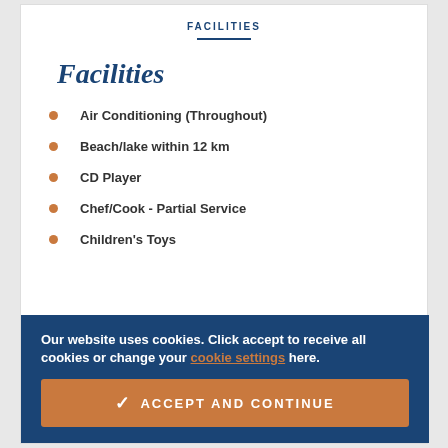FACILITIES
Facilities
Air Conditioning (Throughout)
Beach/lake within 12 km
CD Player
Chef/Cook - Partial Service
Children's Toys
Our website uses cookies. Click accept to receive all cookies or change your cookie settings here.
✓ ACCEPT AND CONTINUE